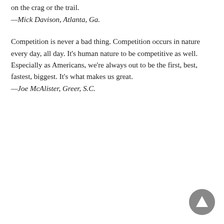on the crag or the trail.
—Mick Davison, Atlanta, Ga.
Competition is never a bad thing. Competition occurs in nature every day, all day. It's human nature to be competitive as well. Especially as Americans, we're always out to be the first, best, fastest, biggest. It's what makes us great.
—Joe McAlister, Greer, S.C.